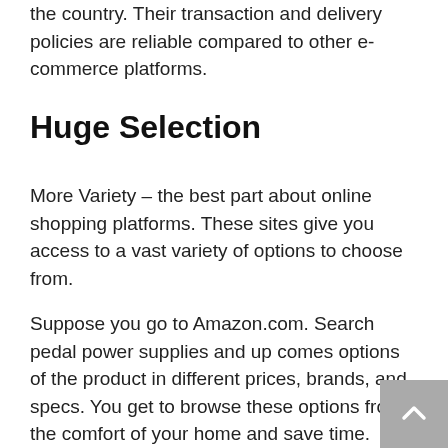the country. Their transaction and delivery policies are reliable compared to other e-commerce platforms.
Huge Selection
More Variety – the best part about online shopping platforms. These sites give you access to a vast variety of options to choose from.
Suppose you go to Amazon.com. Search pedal power supplies and up comes options of the product in different prices, brands, and specs. You get to browse these options from the comfort of your home and save time.